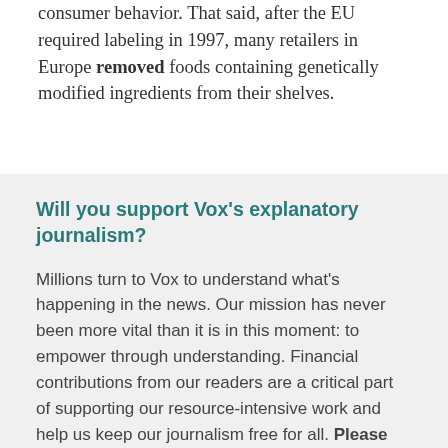consumer behavior. That said, after the EU required labeling in 1997, many retailers in Europe removed foods containing genetically modified ingredients from their shelves.
Will you support Vox's explanatory journalism?
Millions turn to Vox to understand what's happening in the news. Our mission has never been more vital than it is in this moment: to empower through understanding. Financial contributions from our readers are a critical part of supporting our resource-intensive work and help us keep our journalism free for all. Please consider making a contribution to Vox today.